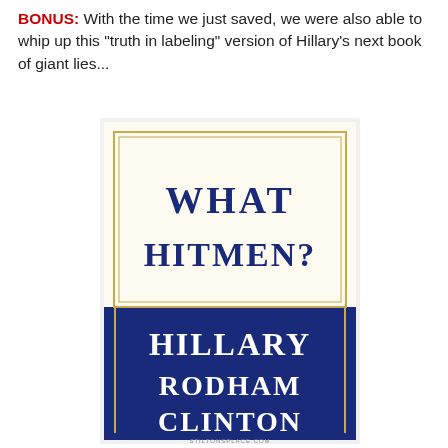BONUS: With the time we just saved, we were also able to whip up this "truth in labeling" version of Hillary's next book of giant lies...
[Figure (illustration): Parody book cover showing 'WHAT HITMEN?' as title in dark navy text on cream/yellow background, with author name 'HILLARY RODHAM CLINTON' in white text on dark navy blue background. Gold border lines frame the cover. StiltonsPlace.com watermark at bottom.]